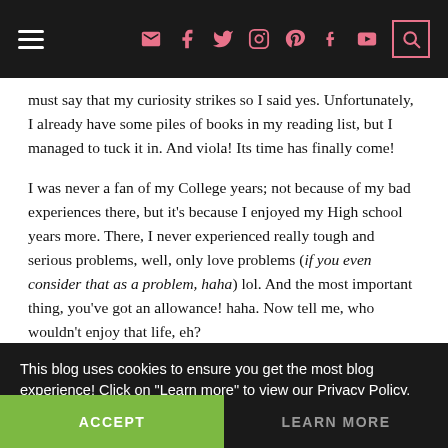Navigation header with hamburger menu and social icons (email, facebook, twitter, instagram, pinterest, tumblr, youtube, search)
must say that my curiosity strikes so I said yes. Unfortunately, I already have some piles of books in my reading list, but I managed to tuck it in. And viola! Its time has finally come!
I was never a fan of my College years; not because of my bad experiences there, but it's because I enjoyed my High school years more. There, I never experienced really tough and serious problems, well, only love problems (if you even consider that as a problem, haha) lol. And the most important thing, you've got an allowance! haha. Now tell me, who wouldn't enjoy that life, eh?
This blog uses cookies to ensure you get the most blog experience! Click on "Learn more" to view our Privacy Policy.
ACCEPT
LEARN MORE